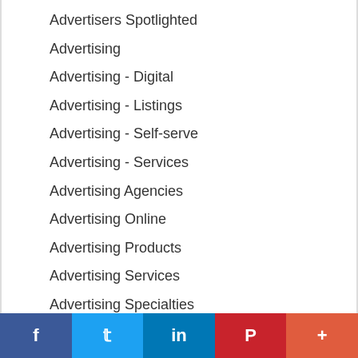Advertisers Spotlighted
Advertising
Advertising - Digital
Advertising - Listings
Advertising - Self-serve
Advertising - Services
Advertising Agencies
Advertising Online
Advertising Products
Advertising Services
Advertising Specialties
Air Conditioning
Air Duct Cleaning
Alarm Equipment Installation